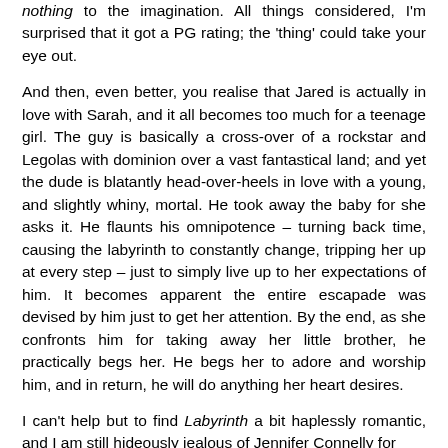nothing to the imagination. All things considered, I'm surprised that it got a PG rating; the 'thing' could take your eye out.
And then, even better, you realise that Jared is actually in love with Sarah, and it all becomes too much for a teenage girl. The guy is basically a cross-over of a rockstar and Legolas with dominion over a vast fantastical land; and yet the dude is blatantly head-over-heels in love with a young, and slightly whiny, mortal. He took away the baby for she asks it. He flaunts his omnipotence – turning back time, causing the labyrinth to constantly change, tripping her up at every step – just to simply live up to her expectations of him. It becomes apparent the entire escapade was devised by him just to get her attention. By the end, as she confronts him for taking away her little brother, he practically begs her. He begs her to adore and worship him, and in return, he will do anything her heart desires.
I can't help but to find Labyrinth a bit haplessly romantic, and I am still hideously jealous of Jennifer Connelly for being cast as Beginner, so after her. As the film went to